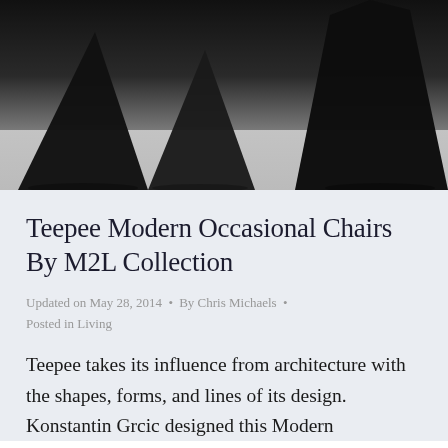[Figure (photo): Black and white photo of Teepee modern occasional chairs from above, showing angular pyramid-shaped forms against a light surface]
Teepee Modern Occasional Chairs By M2L Collection
Updated on May 28, 2014 • By Chris Michaels • Posted in Living
Teepee takes its influence from architecture with the shapes, forms, and lines of its design. Konstantin Grcic designed this Modern